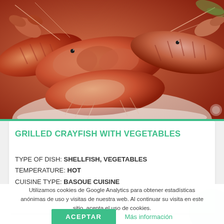[Figure (photo): Close-up photo of cooked crayfish/langoustines piled together, orange-pink color, on a white plate, overhead and angled view]
GRILLED CRAYFISH WITH VEGETABLES
TYPE OF DISH: SHELLFISH, VEGETABLES
TEMPERATURE: HOT
CUISINE TYPE: BASQUE CUISINE
Utilizamos cookies de Google Analytics para obtener estadísticas anónimas de uso y visitas de nuestra web. Al continuar su visita en este sitio, acepta el uso de cookies.
ACEPTAR    Más información